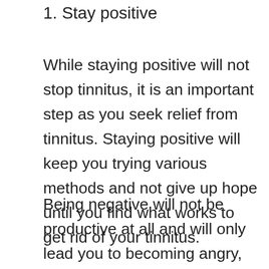1. Stay positive
While staying positive will not stop tinnitus, it is an important step as you seek relief from tinnitus. Staying positive will keep you trying various methods and not give up hope until you find what works to get rid of your tinnitus.
Being negative will not be productive at all and will only lead you to becoming angry, depressed, isolating yourself, developing addictions to drugs or alcohol, becoming suicidal and every negative emotion and behavior out there. It will be hard. You will want to give up but don’t let tinnitus rob you of your life. There is a solution for every problem. You just need to do the work to find it and staying positive will help you get up every morning and